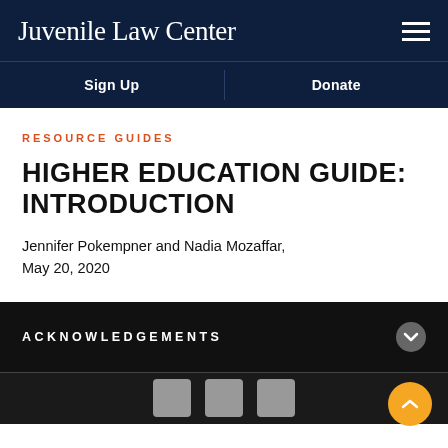Juvenile Law Center
RESOURCE GUIDES
HIGHER EDUCATION GUIDE: INTRODUCTION
Jennifer Pokempner and Nadia Mozaffar, May 20, 2020
ACKNOWLEDGEMENTS